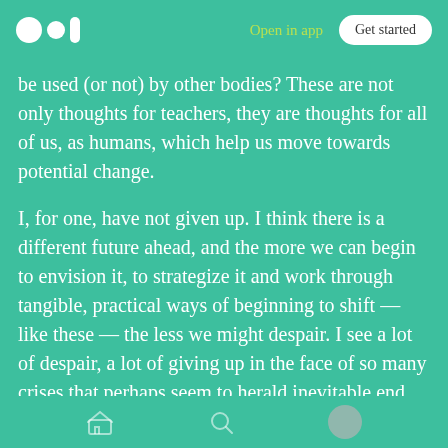Medium logo | Open in app | Get started
be used (or not) by other bodies? These are not only thoughts for teachers, they are thoughts for all of us, as humans, which help us move towards potential change.
I, for one, have not given up. I think there is a different future ahead, and the more we can begin to envision it, to strategize it and work through tangible, practical ways of beginning to shift — like these — the less we might despair. I see a lot of despair, a lot of giving up in the face of so many crises that perhaps seem to herald inevitable end, and I think a lot of that has to do
Navigation bar with home, search, and profile icons